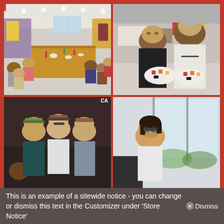[Figure (photo): Group of people seated at a long wooden dining table in a modern restaurant/meeting room, sharing a meal with sushi and drinks visible]
[Figure (photo): Two people (a woman and a man with grey hair) standing together holding plates of sushi/sashimi in what appears to be a restaurant]
[Figure (photo): Three people posing together in a dark indoor setting, two women and one person in the middle, 'CA' text visible in corner]
[Figure (photo): A woman wearing glasses seated near a large window, natural light behind her]
This is an example of a sitewide notice - you can change or dismiss this text in the Customizer under 'Store Notice'